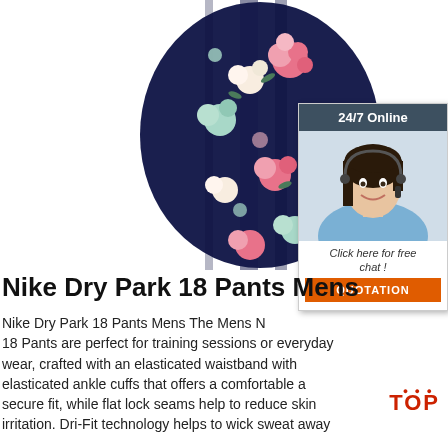[Figure (photo): Floral navy blue maxi pants/skirt with pink and white flower print, shown hanging or worn, cropped to show fabric detail]
[Figure (infographic): 24/7 Online chat widget with dark header reading '24/7 Online', photo of female customer service agent with headset smiling, text 'Click here for free chat!' and orange button reading 'QUOTATION']
Nike Dry Park 18 Pants Mens
Nike Dry Park 18 Pants Mens The Mens Nike Dry Park 18 Pants are perfect for training sessions or everyday wear, crafted with an elasticated waistband with elasticated ankle cuffs that offers a comfortable and secure fit, while flat lock seams help to reduce skin irritation. Dri-Fit technology helps to wick sweat away